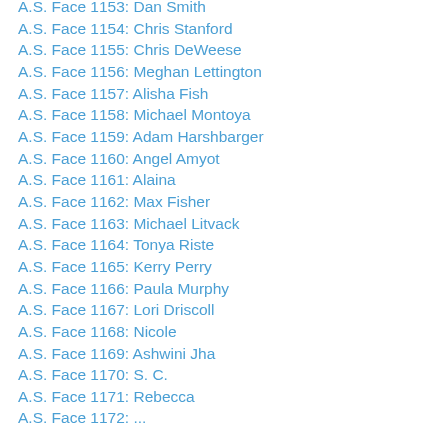A.S. Face 1153: Dan Smith
A.S. Face 1154: Chris Stanford
A.S. Face 1155: Chris DeWeese
A.S. Face 1156: Meghan Lettington
A.S. Face 1157: Alisha Fish
A.S. Face 1158: Michael Montoya
A.S. Face 1159: Adam Harshbarger
A.S. Face 1160: Angel Amyot
A.S. Face 1161: Alaina
A.S. Face 1162: Max Fisher
A.S. Face 1163: Michael Litvack
A.S. Face 1164: Tonya Riste
A.S. Face 1165: Kerry Perry
A.S. Face 1166: Paula Murphy
A.S. Face 1167: Lori Driscoll
A.S. Face 1168: Nicole
A.S. Face 1169: Ashwini Jha
A.S. Face 1170: S. C.
A.S. Face 1171: Rebecca
A.S. Face 1172: ...